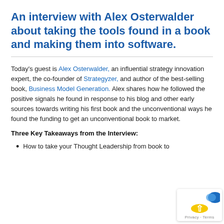An interview with Alex Osterwalder about taking the tools found in a book and making them into software.
Today's guest is Alex Osterwalder, an influential strategy innovation expert, the co-founder of Strategyzer, and author of the best-selling book, Business Model Generation. Alex shares how he followed the positive signals he found in response to his blog and other early sources towards writing his first book and the unconventional ways he found the funding to get an unconventional book to market.
Three Key Takeaways from the Interview:
How to take your Thought Leadership from book to